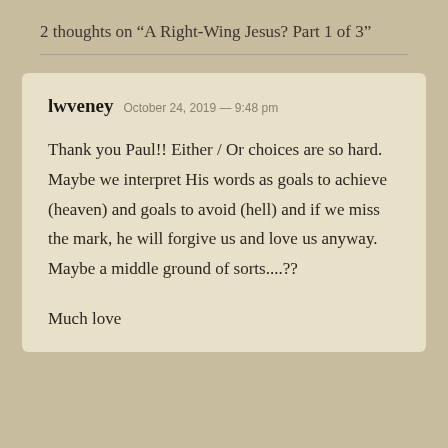2 thoughts on “A Right-Wing Jesus? Part 1 of 3”
lwveney  October 24, 2019 — 9:48 pm
Thank you Paul!! Either / Or choices are so hard. Maybe we interpret His words as goals to achieve (heaven) and goals to avoid (hell) and if we miss the mark, he will forgive us and love us anyway. Maybe a middle ground of sorts....??
Much love